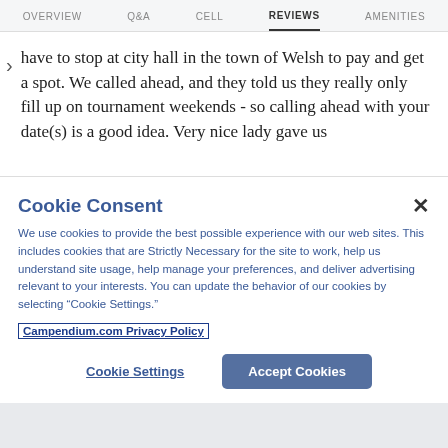OVERVIEW | Q&A | CELL | REVIEWS | AMENITIES
have to stop at city hall in the town of Welsh to pay and get a spot. We called ahead, and they told us they really only fill up on tournament weekends - so calling ahead with your date(s) is a good idea. Very nice lady gave us
Cookie Consent
We use cookies to provide the best possible experience with our web sites. This includes cookies that are Strictly Necessary for the site to work, help us understand site usage, help manage your preferences, and deliver advertising relevant to your interests. You can update the behavior of our cookies by selecting “Cookie Settings.”
Campendium.com Privacy Policy
Cookie Settings
Accept Cookies